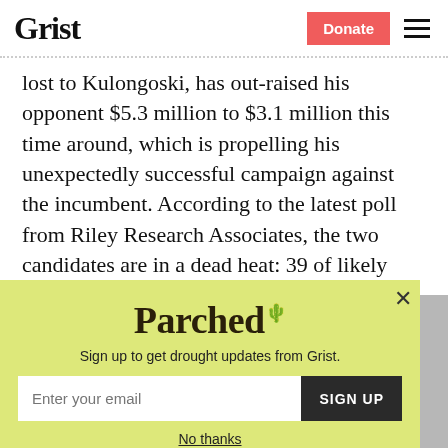Grist | Donate
lost to Kulongoski, has out-raised his opponent $5.3 million to $3.1 million this time around, which is propelling his unexpectedly successful campaign against the incumbent. According to the latest poll from Riley Research Associates, the two candidates are in a dead heat: 39 of likely
[Figure (screenshot): Parched newsletter signup modal with yellow-green background, Parched logo, subtitle 'Sign up to get drought updates from Grist.', email input field, SIGN UP button, and 'No thanks' link.]
Sign up to get drought updates from Grist.
No thanks